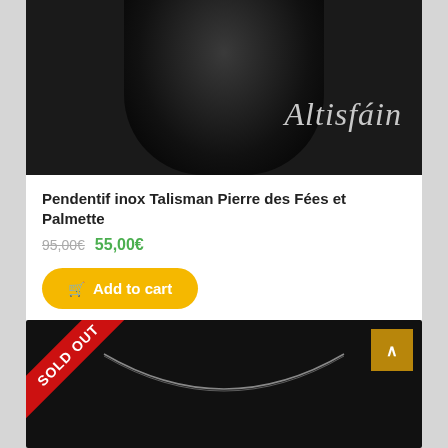[Figure (photo): Dark product photo showing a black jewelry bust with cursive script brand name 'Altisfain' in light grey on dark background]
Pendentif inox Talisman Pierre des Fées et Palmette
95,00€  55,00€
Add to cart
[Figure (photo): Dark product photo showing a silver necklace chain on black bust mannequin, with a red SOLD OUT diagonal ribbon banner in top left corner and a gold scroll-to-top button in top right]